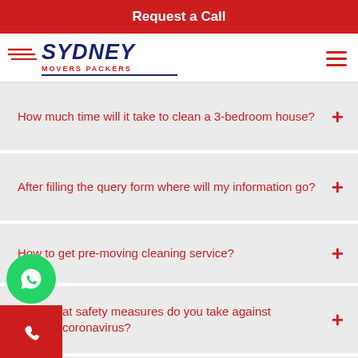Request a Call
[Figure (logo): Sydney Movers Packers logo with blue and red text and speed lines]
How much time will it take to clean a 3-bedroom house?
After filling the query form where will my information go?
How to get pre-moving cleaning service?
What safety measures do you take against coronavirus?
Do you also offer office cleaning?